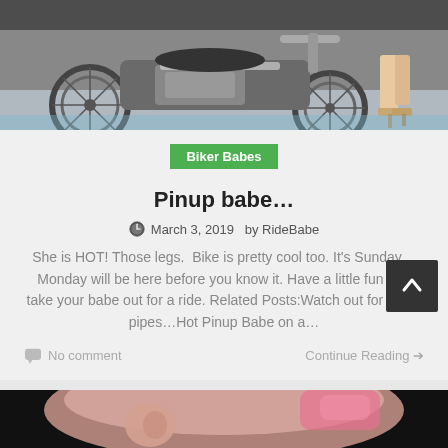[Figure (photo): Top portion of photo showing a motorcycle with chrome details near a pool, and a woman's legs in high heels visible at the right edge]
Biker Babes
Pinup babe…
March 3, 2019  by RideBabe
She is HOT! Those legs.  Bike is pretty cool too. It's Sunday… Monday will be here before you know it. Have a little fun and take your babe out for a ride. Related Posts:Watch out for those pipes…Hot Pinup Babe on a…
No comment
Continue Reading →
[Figure (photo): Bottom cropped photo showing a close-up of a person's face/ear area with light skin and pink hair or accessory]